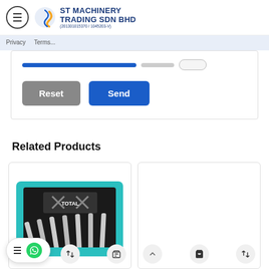ST Machinery Trading SDN BHD (201301015370 / 1045203-V)
[Figure (screenshot): Progress bar and captcha verification row inside a form]
Reset  Send
Related Products
[Figure (photo): Total branded combination wrench set in teal/black pouch]
[Figure (photo): Second related product card, mostly white/empty area visible]